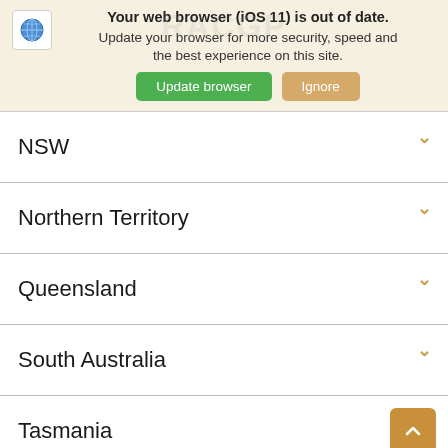[Figure (screenshot): Browser update notification banner with globe icon, 'Update browser' green button and 'Ignore' tan button. Text: 'Your web browser (iOS 11) is out of date. Update your browser for more security, speed and the best experience on this site.']
NSW
Northern Territory
Queensland
South Australia
Tasmania